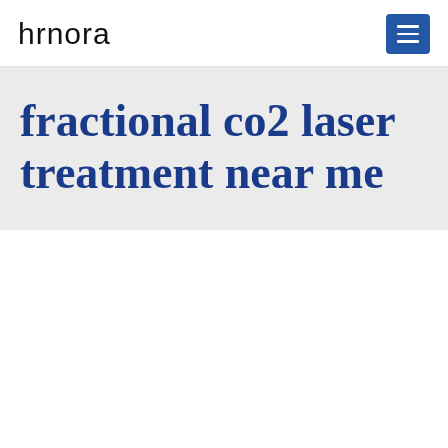hrnora
fractional co2 laser treatment near me
[Figure (other): White content area below the title banner, likely an image or map placeholder]